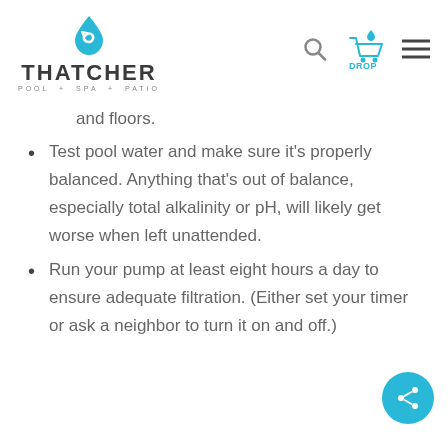Thatcher Pool + Spa + Patio — Drop Click
and floors.
Test pool water and make sure it's properly balanced. Anything that's out of balance, especially total alkalinity or pH, will likely get worse when left unattended.
Run your pump at least eight hours a day to ensure adequate filtration. (Either set your timer or ask a neighbor to turn it on and off.)